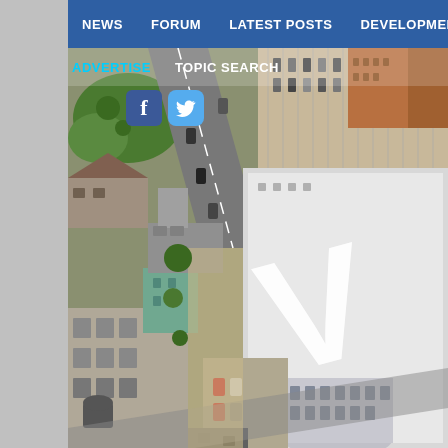NEWS | FORUM | LATEST POSTS | DEVELOPMENT MAP
ADVERTISE   TOPIC SEARCH
[Figure (photo): Aerial view of an urban downtown area showing streets, parking lots, commercial and residential buildings. A large building with a prominent white 'V' letter on its rooftop is visible in the center-right of the image.]